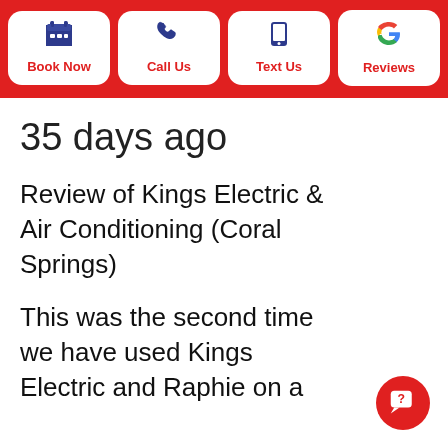[Figure (infographic): Navigation bar with four white rounded buttons on a red background: Book Now (calendar icon), Call Us (phone icon), Text Us (mobile icon), Reviews (Google G icon)]
35 days ago
Review of Kings Electric & Air Conditioning (Coral Springs)
This was the second time we have used Kings Electric and Raphie on a